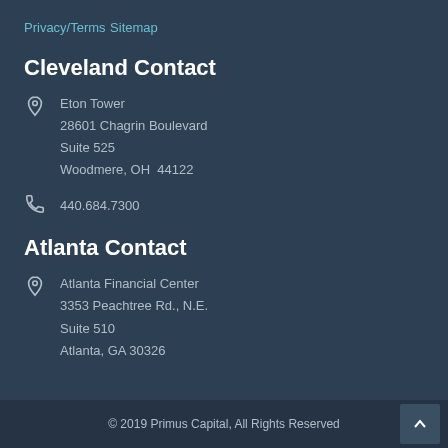Privacy/Terms
Sitemap
Cleveland Contact
Eton Tower
28601 Chagrin Boulevard
Suite 525
Woodmere, OH  44122
440.684.7300
Atlanta Contact
Atlanta Financial Center
3353 Peachtree Rd., N.E.
Suite 510
Atlanta, GA 30326
© 2019 Primus Capital, All Rights Reserved